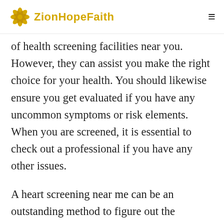ZionHopeFaith
of health screening facilities near you. However, they can assist you make the right choice for your health. You should likewise ensure you get evaluated if you have any uncommon symptoms or risk elements. When you are screened, it is essential to check out a professional if you have any other issues.
A heart screening near me can be an outstanding method to figure out the presence of heart issues. In addition to evaluating the threat of cardiovascular